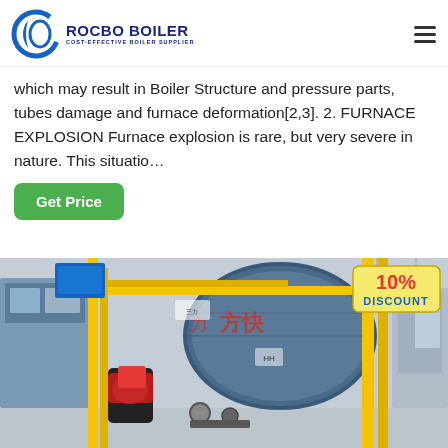ROCBO BOILER - COST-EFFECTIVE BOILER SUPPLIER
which may result in Boiler Structure and pressure parts, tubes damage and furnace deformation[2,3]. 2. FURNACE EXPLOSION Furnace explosion is rare, but very severe in nature. This situatio…
[Figure (other): Green 'Get Price' button]
[Figure (photo): Industrial boiler facility with blue cylindrical boiler unit, yellow pipes, red burner component, and Chinese text on boiler. 10% DISCOUNT badge in upper right.]